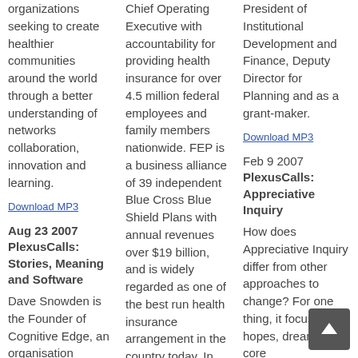organizations seeking to create healthier communities around the world through a better understanding of networks collaboration, innovation and learning.
Download MP3
Aug 23 2007 PlexusCalls: Stories, Meaning and Software
Dave Snowden is the Founder of Cognitive Edge, an organisation focused on the
Chief Operating Executive with accountability for providing health insurance for over 4.5 million federal employees and family members nationwide. FEP is a business alliance of 39 independent Blue Cross Blue Shield Plans with annual revenues over $19 billion, and is widely regarded as one of the best run health insurance arrangement in the country today. In this most recent
President of Institutional Development and Finance, Deputy Director for Planning and as a grant-maker.
Download MP3
Feb 9 2007 PlexusCalls: Appreciative Inquiry
How does Appreciative Inquiry differ from other approaches to change? For one thing, it focuses on hopes, dreams and core